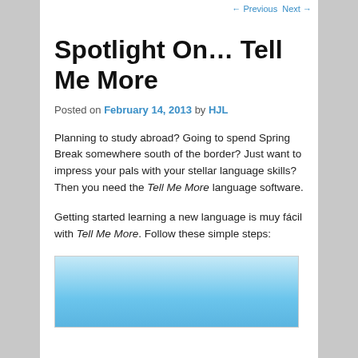← Previous   Next →
Spotlight On… Tell Me More
Posted on February 14, 2013 by HJL
Planning to study abroad? Going to spend Spring Break somewhere south of the border? Just want to impress your pals with your stellar language skills? Then you need the Tell Me More language software.
Getting started learning a new language is muy fácil with Tell Me More. Follow these simple steps:
[Figure (screenshot): Screenshot of Tell Me More language software interface with a blue sky background]